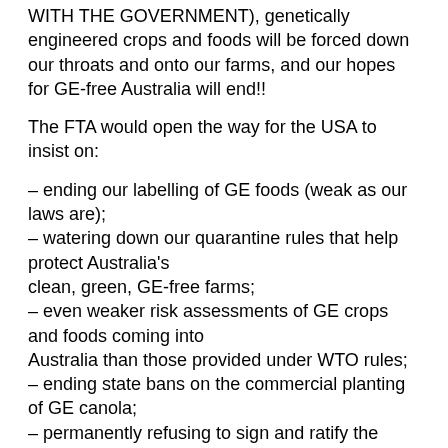WITH THE GOVERNMENT), genetically engineered crops and foods will be forced down our throats and onto our farms, and our hopes for GE-free Australia will end!!
The FTA would open the way for the USA to insist on:
– ending our labelling of GE foods (weak as our laws are);
– watering down our quarantine rules that help protect Australia's clean, green, GE-free farms;
– even weaker risk assessments of GE crops and foods coming into Australia than those provided under WTO rules;
– ending state bans on the commercial planting of GE canola;
– permanently refusing to sign and ratify the Biosafety Protocol, to help protect against international contamination from GE organisms;
– free access for GE and other foods from the USA, even though these are subsidised by US$33 billion annually under the US Farm Bill